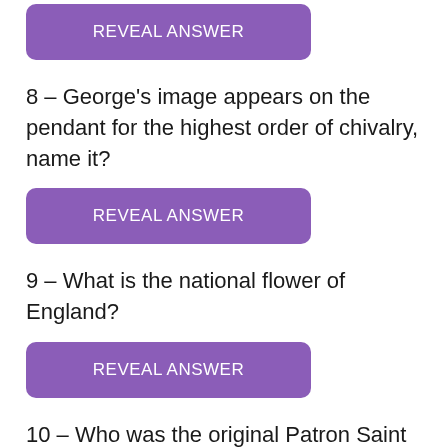[Figure (other): Purple REVEAL ANSWER button at top of page]
8 – George's image appears on the pendant for the highest order of chivalry, name it?
[Figure (other): Purple REVEAL ANSWER button for question 8]
9 – What is the national flower of England?
[Figure (other): Purple REVEAL ANSWER button for question 9]
10 – Who was the original Patron Saint of